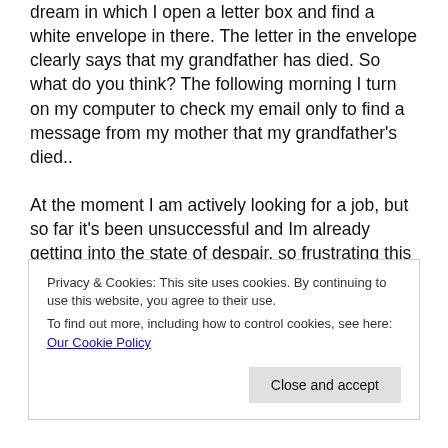dream in which I open a letter box and find a white envelope in there. The letter in the envelope clearly says that my grandfather has died. So what do you think? The following morning I turn on my computer to check my email only to find a message from my mother that my grandfather's died.. At the moment I am actively looking for a job, but so far it's been unsuccessful and Im already getting into the state of despair, so frustrating this is. I really want to find a job. Sick of sitting at home. I do wonder if that dream may be related to my future work? On the other hand, my health has improved a bit and I am sleeping much better now. May the dream be related to my
Privacy & Cookies: This site uses cookies. By continuing to use this website, you agree to their use.
To find out more, including how to control cookies, see here: Our Cookie Policy
Close and accept